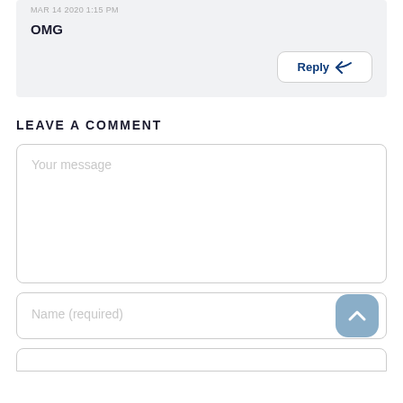MAR 14 2020 1:15 PM
OMG
Reply
LEAVE A COMMENT
Your message
Name (required)